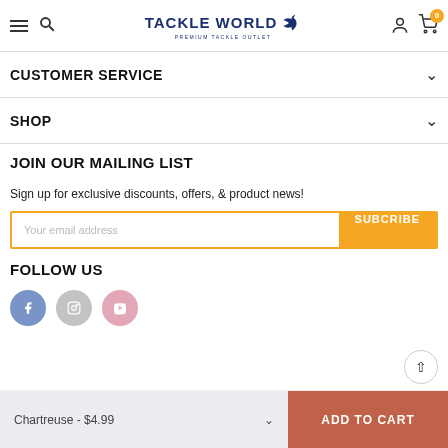Tackle World — Premium Tackle Outlet — navigation header with hamburger menu, search, logo, account, and cart (0)
CUSTOMER SERVICE
SHOP
JOIN OUR MAILING LIST
Sign up for exclusive discounts, offers, & product news!
FOLLOW US
[Figure (screenshot): Email subscription input field with placeholder 'Your email address' and orange SUBCRIBE button]
[Figure (screenshot): Social media icons: Facebook (blue circle), Instagram (grey circle), YouTube/play (pink circle)]
Chartreuse - $4.99
ADD TO CART